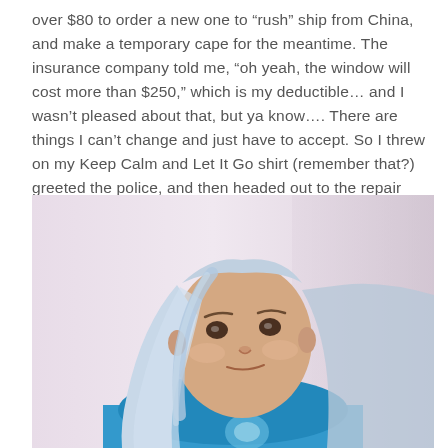over $80 to order a new one to “rush” ship from China, and make a temporary cape for the meantime. The insurance company told me, “oh yeah, the window will cost more than $250,” which is my deductible… and I wasn’t pleased about that, but ya know…. There are things I can’t change and just have to accept. So I threw on my Keep Calm and Let It Go shirt (remember that?) greeted the police, and then headed out to the repair shop.
[Figure (photo): A young woman with long silver-blue hair wearing a blue Elsa (Frozen) t-shirt, looking at the camera with a slight smirk. She is standing against a plain light-colored wall.]